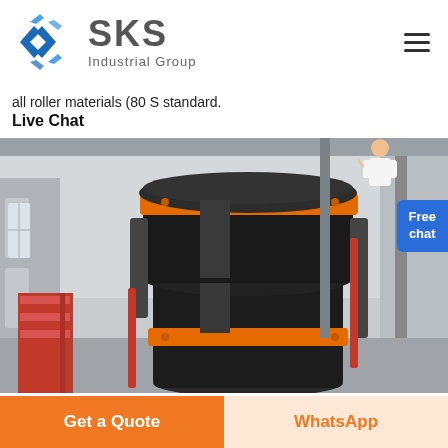[Figure (logo): SKS Industrial Group logo with blue diamond-S icon and grey text]
all roller materials (80 S standard.
Live Chat
[Figure (photo): Large industrial roller mill machine (vertical grinding mill) with orange/red bands, black cylindrical body, inside a factory building]
Free chat
Get a Quote
WhatsApp